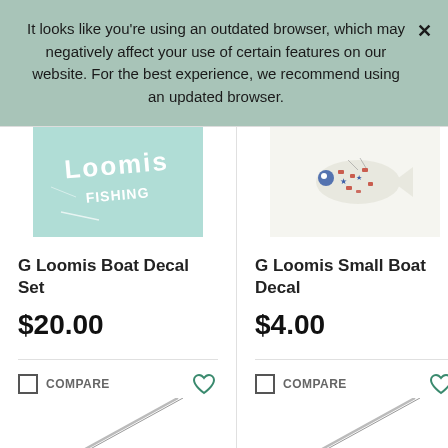It looks like you're using an outdated browser, which may negatively affect your use of certain features on our website. For the best experience, we recommend using an updated browser.
[Figure (photo): G Loomis Boat Decal Set product image on teal background]
[Figure (photo): G Loomis Small Boat Decal product image showing patriotic fish design on light background]
G Loomis Boat Decal Set
$20.00
G Loomis Small Boat Decal
$4.00
COMPARE
COMPARE